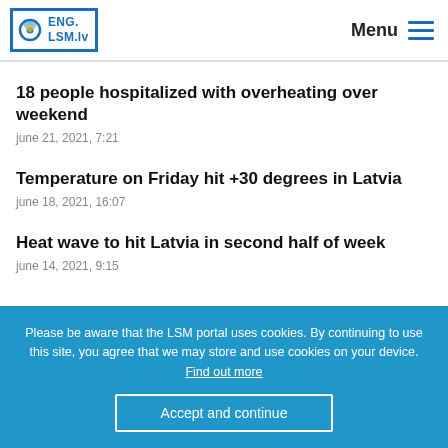ENG. LSM.lv — Menu
18 people hospitalized with overheating over weekend
june 21, 2021, 7:21
Temperature on Friday hit +30 degrees in Latvia
june 18, 2021, 16:07
Heat wave to hit Latvia in second half of week
june 14, 2021, 9:15
Please be aware that the LSM portal uses cookies. By continuing to use this site, you agree that we may store and use cookies on your device. Find out more
Accept and continue